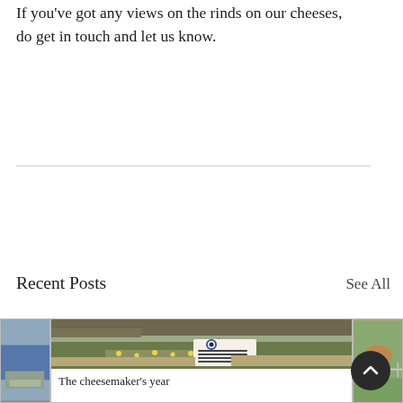If you've got any views on the rinds on our cheeses, do get in touch and let us know.
Recent Posts
See All
[Figure (photo): A field with daffodils and a sign reading 'Norton and Yarrow Cheese, Deliveries and Visitors'. There is a logo on the sign.]
The cheesemaker's year
[Figure (photo): Partially visible left card showing a blue object, possibly a person or tent, outdoors.]
[Figure (photo): Partially visible right card showing a brown cow or goat near a fence.]